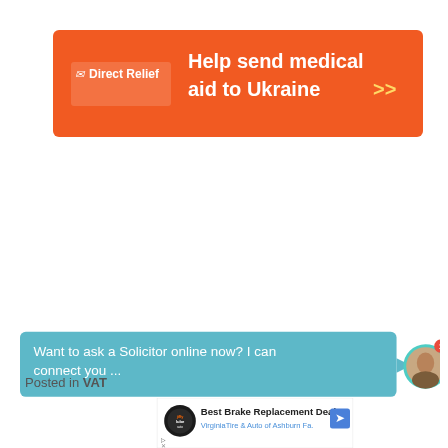[Figure (screenshot): Direct Relief orange banner ad: logo on left, text 'Help send medical aid to Ukraine >>' in white and orange on orange background]
[Figure (screenshot): Light blue chat bubble with white text 'Want to ask a Solicitor online now? I can connect you ...' with a circular avatar photo of a smiling woman with a red notification badge showing '1']
Posted in VAT
[Figure (screenshot): Advertisement: Jiffy Lube logo, 'Best Brake Replacement Deal', 'VirginiaTire & Auto of Ashburn Fa.' with a blue navigation arrow icon, and two small icons below]